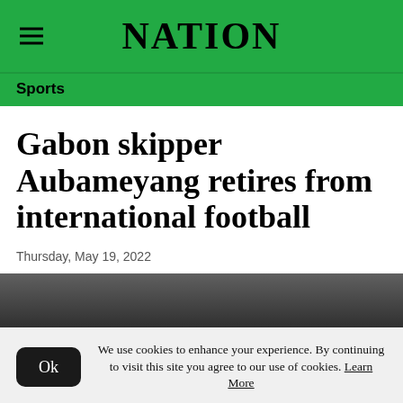NATION
Sports
Gabon skipper Aubameyang retires from international football
Thursday, May 19, 2022
[Figure (photo): Partial photo of a person, blurred background with crowd]
We use cookies to enhance your experience. By continuing to visit this site you agree to our use of cookies. Learn More